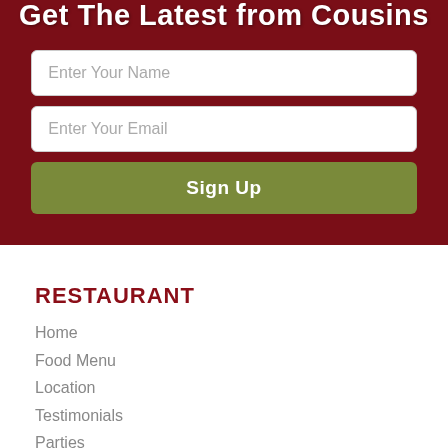Get The Latest from Cousins
[Figure (screenshot): Email sign-up form with 'Enter Your Name' text field, 'Enter Your Email' text field, and a green 'Sign Up' button, all on a dark red background]
RESTAURANT
Home
Food Menu
Location
Testimonials
Parties
Dining In
Delivery